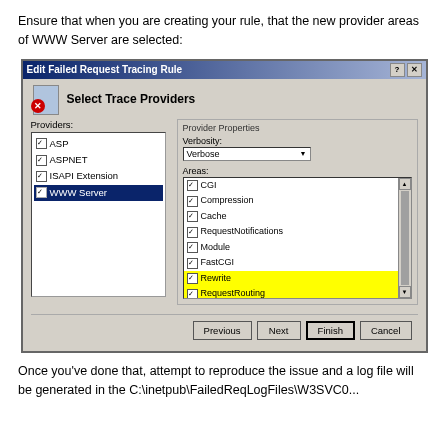Ensure that when you are creating your rule, that the new provider areas of WWW Server are selected:
[Figure (screenshot): Windows dialog box titled 'Edit Failed Request Tracing Rule' showing 'Select Trace Providers' panel. Left list has ASP, ASPNET, ISAPI Extension, WWW Server (selected/highlighted). Right side shows Provider Properties with Verbosity dropdown set to 'Verbose' and Areas checklist including CGI, Compression, Cache, RequestNotifications, Module, FastCGI, Rewrite (highlighted yellow), RequestRouting (highlighted yellow). Bottom buttons: Previous, Next, Finish, Cancel.]
Once you've done that, attempt to reproduce the issue and a log file will be generated in the C:\inetpub\FailedReqLogFiles\W3SVC0...